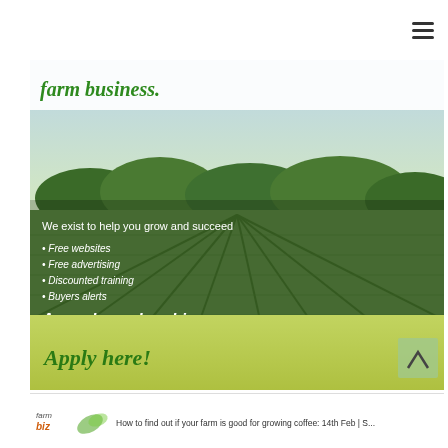[Figure (infographic): Farm membership advertisement showing a agricultural field with crop rows. Text overlay reads: 'farm business.' at top, 'We exist to help you grow and succeed', bullet points: 'Free websites', 'Free advertising', 'Discounted training', 'Buyers alerts', 'Annual membership Sh 3,600', 'Apply here!' on green bar at bottom.]
[Figure (infographic): Bottom banner showing Farmbiz logo and partial text: 'How to find out if your farm is good for growing coffee: 14th Feb | S...']